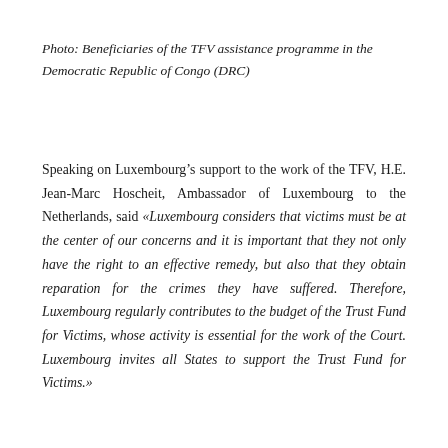Photo: Beneficiaries of the TFV assistance programme in the Democratic Republic of Congo (DRC)
Speaking on Luxembourg's support to the work of the TFV, H.E. Jean-Marc Hoscheit, Ambassador of Luxembourg to the Netherlands, said «Luxembourg considers that victims must be at the center of our concerns and it is important that they not only have the right to an effective remedy, but also that they obtain reparation for the crimes they have suffered. Therefore, Luxembourg regularly contributes to the budget of the Trust Fund for Victims, whose activity is essential for the work of the Court. Luxembourg invites all States to support the Trust Fund for Victims.»